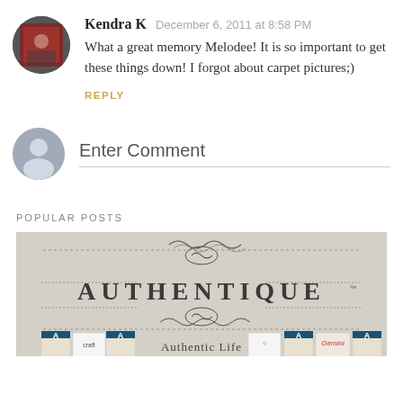Kendra K  December 6, 2011 at 8:58 PM
What a great memory Melodee! It is so important to get these things down! I forgot about carpet pictures;)
REPLY
Enter Comment
POPULAR POSTS
[Figure (photo): Authentique brand image with ornate scroll decorations and text reading AUTHENTIQUE and Authentic Life]